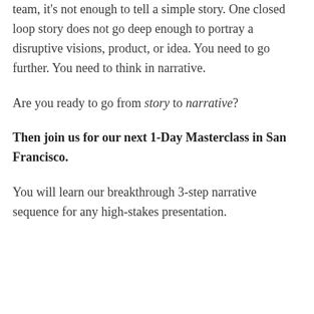team, it's not enough to tell a simple story. One closed loop story does not go deep enough to portray a disruptive visions, product, or idea. You need to go further. You need to think in narrative.
Are you ready to go from story to narrative?
Then join us for our next 1-Day Masterclass in San Francisco.
You will learn our breakthrough 3-step narrative sequence for any high-stakes presentation.